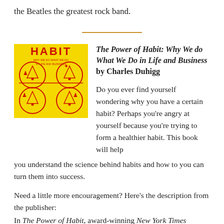the Beatles the greatest rock band.
[Figure (illustration): Book cover of 'The Power of Habit: Why We Do What We Do in Life and Business' — yellow background with red circular shapes and small human figures, bold red text reading HABIT at the top.]
The Power of Habit: Why We do What We Do in Life and Business by Charles Duhigg
Do you ever find yourself wondering why you have a certain habit? Perhaps you're angry at yourself because you're trying to form a healthier habit. This book will help you understand the science behind habits and how to you can turn them into success.
Need a little more encouragement? Here's the description from the publisher:
In The Power of Habit, award-winning New York Times business reporter Charles Duhigg takes us to the thrilling edge of scientific discoveries that explain why habits exist and how they can be